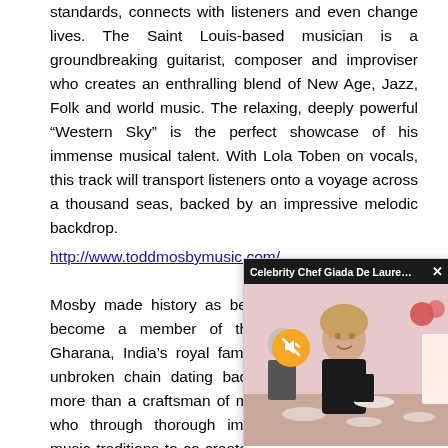standards, connects with listeners and even change lives. The Saint Louis-based musician is a groundbreaking guitarist, composer and improviser who creates an enthralling blend of New Age, Jazz, Folk and world music. The relaxing, deeply powerful “Western Sky” is the perfect showcase of his immense musical talent. With Lola Toben on vocals, this track will transport listeners onto a voyage across a thousand seas, backed by an impressive melodic backdrop.
http://www.toddmosbymusic.com/
Mosby made history as being the only guitarist to become a member of the famed Imdad Khan Gharana, India’s royal family of musicians with an unbroken chain dating back 500 years. Mosby is more than a craftsman of music, but rather an artist who through thorough immersion in culture and music traditions to co-create a new instrument… His goal was to insure he’d possess the ability to authentically perform Indian music. Schooled
[Figure (other): A popup/overlay showing a celebrity chef (Giada De Laurentiis) video thumbnail with a mute button and close button, overlapping the main text content.]